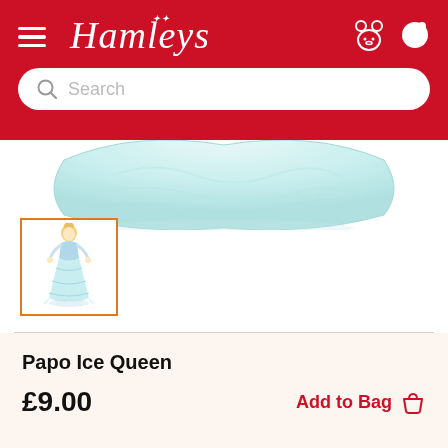Hamleys
[Figure (screenshot): Product image of Papo Ice Queen figurine in light blue dress, only bottom of dress/train visible in main view. Thumbnail of full figurine shown below.]
Papo Ice Queen
£9.00
Add to Bag